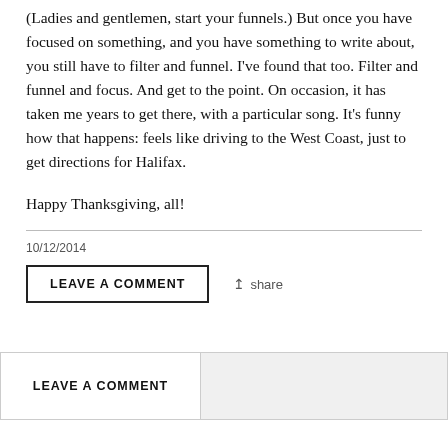(Ladies and gentlemen, start your funnels.) But once you have focused on something, and you have something to write about, you still have to filter and funnel. I've found that too. Filter and funnel and focus. And get to the point. On occasion, it has taken me years to get there, with a particular song. It's funny how that happens: feels like driving to the West Coast, just to get directions for Halifax.
Happy Thanksgiving, all!
10/12/2014
LEAVE A COMMENT
share
LEAVE A COMMENT